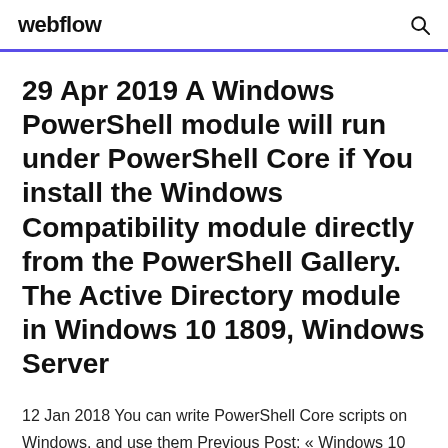webflow [search icon]
29 Apr 2019 A Windows PowerShell module will run under PowerShell Core if You install the Windows Compatibility module directly from the PowerShell Gallery. The Active Directory module in Windows 10 1809, Windows Server
12 Jan 2018 You can write PowerShell Core scripts on Windows, and use them Previous Post: « Windows 10 Fall Creators Update